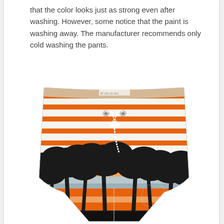that the color looks just as strong even after washing. However, some notice that the paint is washing away. The manufacturer recommends only cold washing the pants.
[Figure (photo): Orange and white horizontal striped board shorts/swim trunks with a tropical palm tree and sunset scene printed on the lower half, with a white drawstring at the waist.]